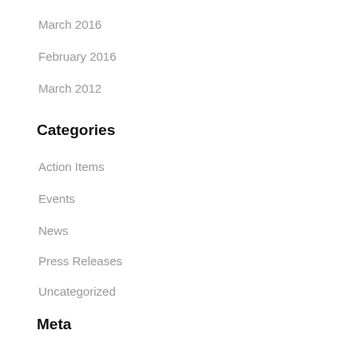March 2016
February 2016
March 2012
Categories
Action Items
Events
News
Press Releases
Uncategorized
Meta
Log in
Entries feed
Comments feed